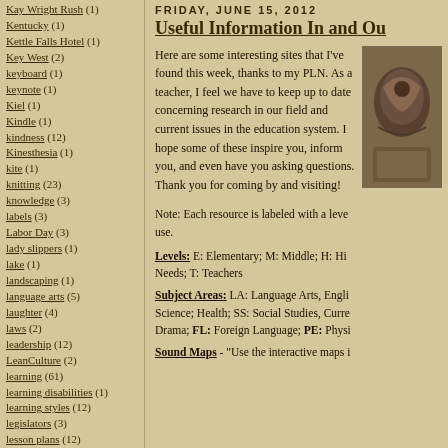Kay Wright Rush (1)
Kentucky (1)
Kettle Falls Hotel (1)
Key West (2)
keyboard (1)
keynote (1)
Kiel (1)
Kindle (1)
kindness (12)
Kinesthesia (1)
kite (1)
knitting (23)
knowledge (3)
labels (3)
Labor Day (3)
lady slippers (1)
lake (1)
landscaping (1)
language arts (5)
laughter (4)
laws (2)
leadership (12)
LeanCulture (2)
learning (61)
learning disabilities (1)
learning styles (12)
legislators (3)
lesson plans (12)
FRIDAY, JUNE 15, 2012
Useful Information In and Ou...
Here are some interesting sites that I've found this week, thanks to my PLN. As a teacher, I feel we have to keep up to date concerning research in our field and current issues in the education system. I hope some of these inspire you, inform you, and even have you asking questions. Thank you for coming by and visiting!
[Figure (photo): Photo of decorative item or artifact]
Note: Each resource is labeled with a level and subject area for your use.
Levels: E: Elementary; M: Middle; H: High School; SN: Special Needs; T: Teachers
Subject Areas: LA: Language Arts, English; Sci: Science; Health; SS: Social Studies, Current Events; Drama; FL: Foreign Language; PE: Physical Education
Sound Maps - "Use the interactive maps i..."